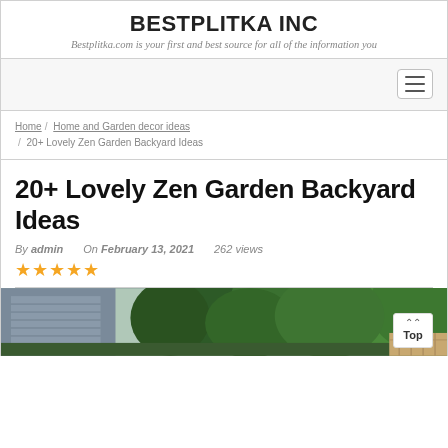BESTPLITKA INC
Bestplitka.com is your first and best source for all of the information you
[Figure (screenshot): Navigation bar with hamburger menu icon on the right]
Home / Home and Garden decor ideas / 20+ Lovely Zen Garden Backyard Ideas
20+ Lovely Zen Garden Backyard Ideas
By admin   On February 13, 2021   262 views
★★★★★
[Figure (photo): Garden backyard photo showing a house exterior on the left and lush green trees/foliage on the right]